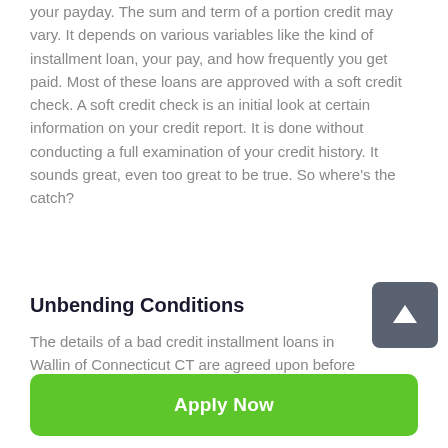your payday. The sum and term of a portion credit may vary. It depends on various variables like the kind of installment loan, your pay, and how frequently you get paid. Most of these loans are approved with a soft credit check. A soft credit check is an initial look at certain information on your credit report. It is done without conducting a full examination of your credit history. It sounds great, even too great to be true. So where's the catch?
Unbending Conditions
The details of a bad credit installment loans in Wallin of Connecticut CT are agreed upon before shutting and
Apply Now
Applying does NOT affect your credit score!
No credit check to apply.